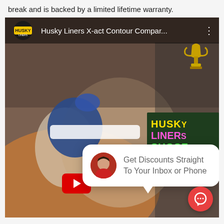break and is backed by a limited lifetime warranty.
[Figure (screenshot): Screenshot of a webpage showing a YouTube video thumbnail for 'Husky Liners X-act Contour Compar...' with a man wearing blue ear protection and a blindfold, a Husky Liners logo, a green chalkboard sign with 'HUSKY LINERS SUCCESS' text, a close button bubble, a chat popup saying 'Get Discounts Straight To Your Inbox or Phone' with a woman avatar, a red play button, and a red chat button in the bottom right corner.]